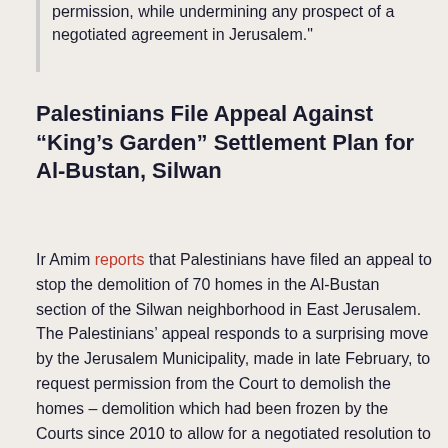permission, while undermining any prospect of a negotiated agreement in Jerusalem."
Palestinians File Appeal Against “King’s Garden” Settlement Plan for Al-Bustan, Silwan
Ir Amim reports that Palestinians have filed an appeal to stop the demolition of 70 homes in the Al-Bustan section of the Silwan neighborhood in East Jerusalem. The Palestinians’ appeal responds to a surprising move by the Jerusalem Municipality, made in late February, to request permission from the Court to demolish the homes – demolition which had been frozen by the Courts since 2010 to allow for a negotiated resolution to the situation. For more on the history of this situation, see FMEP’s report from last week.